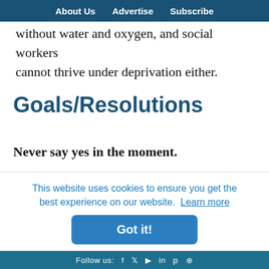About Us   Advertise   Subscribe
without water and oxygen, and social workers cannot thrive under deprivation either.
Goals/Resolutions
Never say yes in the moment.
When someone asks you to do something, ALWAYS think about it before saying yes.
to d
This website uses cookies to ensure you get the best experience on our website. Learn more
Got it!
Follow us: